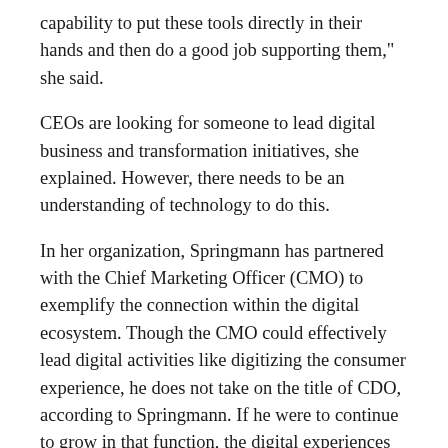capability to put these tools directly in their hands and then do a good job supporting them," she said.
CEOs are looking for someone to lead digital business and transformation initiatives, she explained. However, there needs to be an understanding of technology to do this.
In her organization, Springmann has partnered with the Chief Marketing Officer (CMO) to exemplify the connection within the digital ecosystem. Though the CMO could effectively lead digital activities like digitizing the consumer experience, he does not take on the title of CDO, according to Springmann. If he were to continue to grow in that function, the digital experiences would eventually creep into operations with responsibilities like online bill pay, appointment scheduling, remote patient monitoring post-discharge, and care experiences.
"Very quickly, you get into a purview that marketing's not interested in, because they're all in the ad space of this...